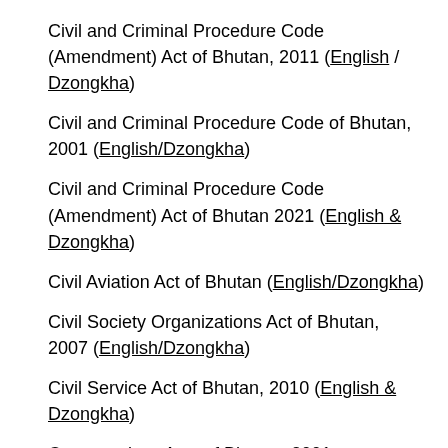Civil and Criminal Procedure Code (Amendment) Act of Bhutan, 2011 (English / Dzongkha)
Civil and Criminal Procedure Code of Bhutan, 2001 (English/Dzongkha)
Civil and Criminal Procedure Code (Amendment) Act of Bhutan 2021 (English & Dzongkha)
Civil Aviation Act of Bhutan (English/Dzongkha)
Civil Society Organizations Act of Bhutan, 2007 (English/Dzongkha)
Civil Service Act of Bhutan, 2010 (English & Dzongkha)
Co-operatives Acts of Bhutan, 2001